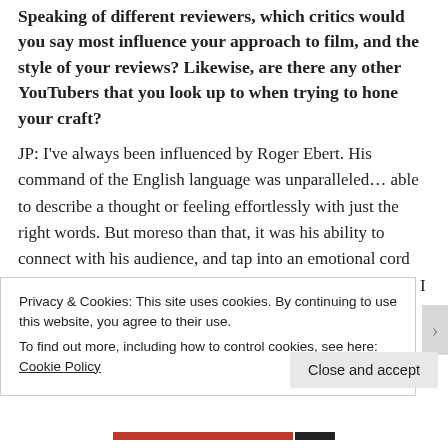Speaking of different reviewers, which critics would you say most influence your approach to film, and the style of your reviews? Likewise, are there any other YouTubers that you look up to when trying to hone your craft?
JP: I've always been influenced by Roger Ebert. His command of the English language was unparalleled… able to describe a thought or feeling effortlessly with just the right words. But moreso than that, it was his ability to connect with his audience, and tap into an emotional cord that made his reviews so poignant, personal, and effective. I sometimes fear that through
Privacy & Cookies: This site uses cookies. By continuing to use this website, you agree to their use.
To find out more, including how to control cookies, see here: Cookie Policy
Close and accept